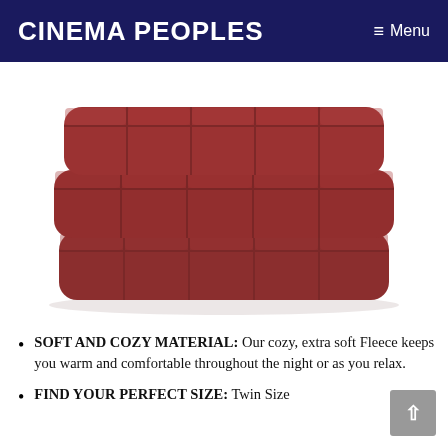Cinema Peoples | Menu
[Figure (photo): Three folded dark red/burgundy fleece blankets with quilted square pattern stacked on top of each other, viewed from the front against a white background.]
SOFT AND COZY MATERIAL: Our cozy, extra soft Fleece keeps you warm and comfortable throughout the night or as you relax.
FIND YOUR PERFECT SIZE: Twin Size